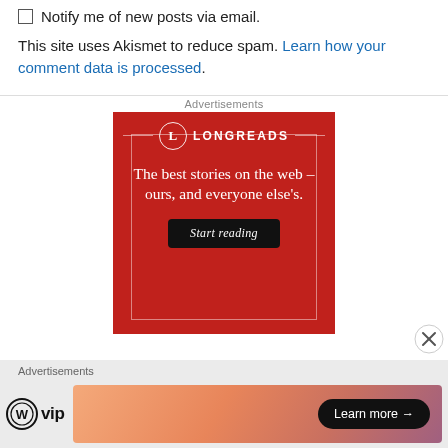Notify me of new posts via email.
This site uses Akismet to reduce spam. Learn how your comment data is processed.
Advertisements
[Figure (illustration): Longreads advertisement banner with red background. Shows Longreads logo (circle with L), tagline 'The best stories on the web – ours, and everyone else's.' and a 'Start reading' button.]
Advertisements
[Figure (illustration): WordPress VIP logo on left, colorful gradient banner on right with 'Learn more →' button]